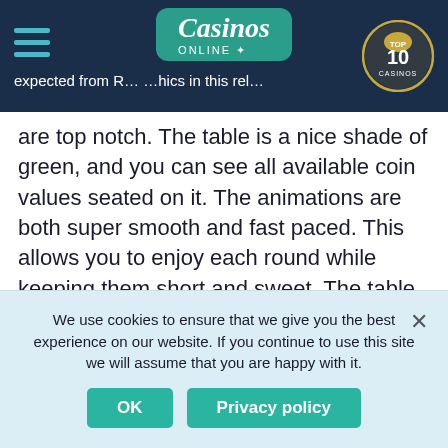Casinos Online — TOP 10 CASINOS header bar with navigation and logo
are top notch. The table is a nice shade of green, and you can see all available coin values seated on it. The animations are both super smooth and fast paced. This allows you to enjoy each round while keeping them short and sweet. The table has one side bet in the form of Perfect Pairs.
HOW TO PLAY
Before you can start playing and admiring the
We use cookies to ensure that we give you the best experience on our website. If you continue to use this site we will assume that you are happy with it.